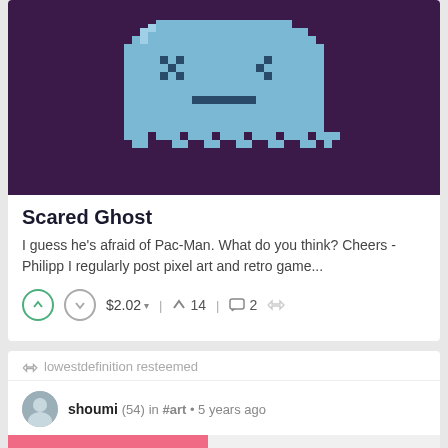[Figure (illustration): Pixel art scared ghost on dark purple background]
Scared Ghost
I guess he's afraid of Pac-Man. What do you think? Cheers - Philipp I regularly post pixel art and retro game...
↑ ↓ $2.02 ▾   ↑ 14   💬 2   ⇦
⇦ lowestdefinition resteemed
shoumi (54) in #art • 5 years ago
[Figure (illustration): Pixel pet contest card with pink background showing pixel cat, 'We Have a Winner!' speech bubble, and teal pixel dinosaur]